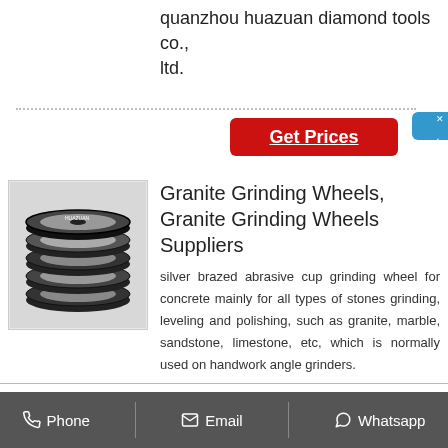quanzhou huazuan diamond tools co., ltd.
[Figure (other): Red 'Get Prices' button]
[Figure (other): Blue Chinese online consultation sidebar widget with close button and text: 在线咨询]
[Figure (photo): Photo of stacked granite grinding wheels - black circular abrasive discs]
Granite Grinding Wheels, Granite Grinding Wheels Suppliers
silver brazed abrasive cup grinding wheel for concrete mainly for all types of stones grinding, leveling and polishing, such as granite, marble, sandstone, limestone, etc, which is normally used on handwork angle grinders.
Phone   Email   Whatsapp